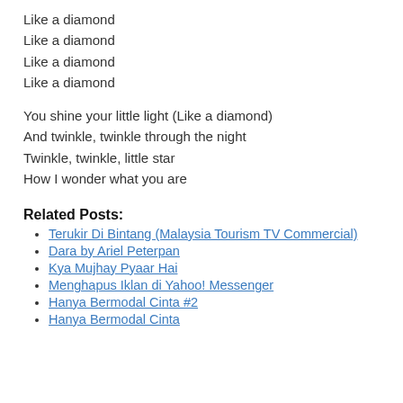Like a diamond
Like a diamond
Like a diamond
Like a diamond
You shine your little light (Like a diamond)
And twinkle, twinkle through the night
Twinkle, twinkle, little star
How I wonder what you are
Related Posts:
Terukir Di Bintang (Malaysia Tourism TV Commercial)
Dara by Ariel Peterpan
Kya Mujhay Pyaar Hai
Menghapus Iklan di Yahoo! Messenger
Hanya Bermodal Cinta #2
Hanya Bermodal Cinta